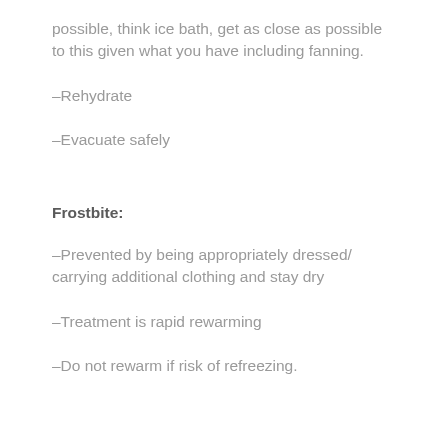possible, think ice bath, get as close as possible to this given what you have including fanning.
–Rehydrate
–Evacuate safely
Frostbite:
–Prevented by being appropriately dressed/ carrying additional clothing and stay dry
–Treatment is rapid rewarming
–Do not rewarm if risk of refreezing.